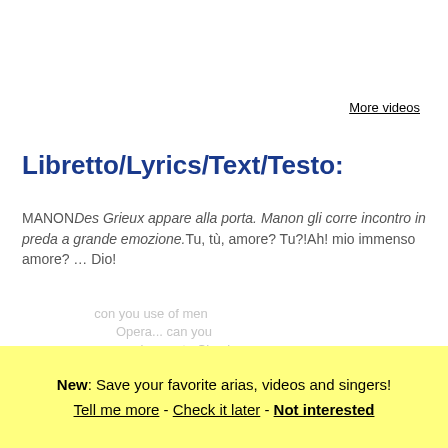More videos
Libretto/Lyrics/Text/Testo:
MANONDes Grieux appare alla porta. Manon gli corre incontro in preda a grande emozione.Tu, tù, amore? Tu?!Ah! mio immenso amore? … Dio!
DES GRIEUX
con rimprovero
Ah, Manon!
MANON
colpita
New: Save your favorite arias, videos and singers!
Tell me more - Check it later - Not interested